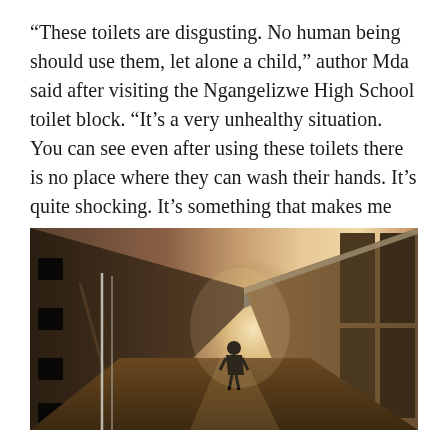“These toilets are disgusting. No human being should use them, let alone a child,” author Mda said after visiting the Ngangelizwe High School toilet block. “It’s a very unhealthy situation. You can see even after using these toilets there is no place where they can wash their hands. It’s quite shocking. It’s something that makes me very angry.”
[Figure (photo): A dark corridor of a dilapidated school building with a lone figure silhouetted against bright light at the far end. The corridor has metal roofing and worn concrete walls with small windows.]